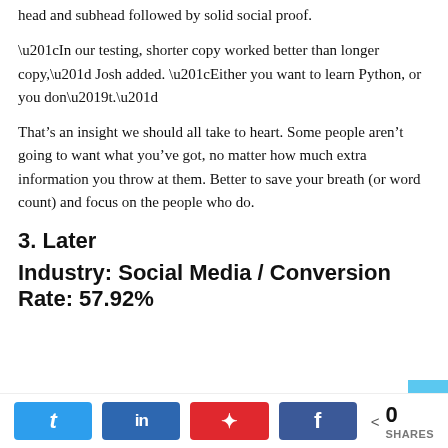head and subhead followed by solid social proof.
“In our testing, shorter copy worked better than longer copy,” Josh added. “Either you want to learn Python, or you don’t.”
That’s an insight we should all take to heart. Some people aren’t going to want what you’ve got, no matter how much extra information you throw at them. Better to save your breath (or word count) and focus on the people who do.
3. Later
Industry: Social Media / Conversion Rate: 57.92%
0 SHARES  [Twitter] [LinkedIn] [Pinterest] [Facebook]